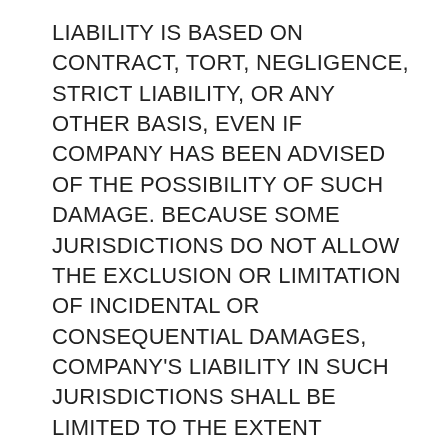LIABILITY IS BASED ON CONTRACT, TORT, NEGLIGENCE, STRICT LIABILITY, OR ANY OTHER BASIS, EVEN IF COMPANY HAS BEEN ADVISED OF THE POSSIBILITY OF SUCH DAMAGE. BECAUSE SOME JURISDICTIONS DO NOT ALLOW THE EXCLUSION OR LIMITATION OF INCIDENTAL OR CONSEQUENTIAL DAMAGES, COMPANY'S LIABILITY IN SUCH JURISDICTIONS SHALL BE LIMITED TO THE EXTENT PERMITTED BY LAW. Any provision herein to the contrary notwithstanding, the maximum liability of COMPANY to any person, firm or corporation whatsoever arising out of or in the connection with any license, use or other employment of any Content delivered to You hereunder, whether such liability arises from any